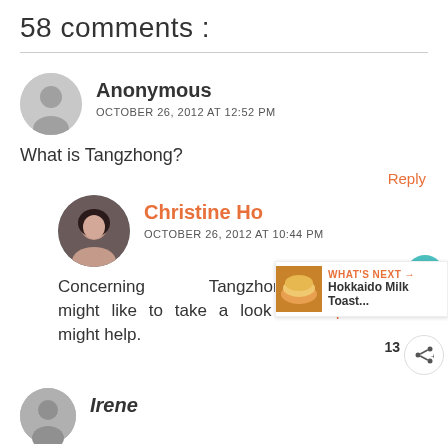58 comments :
Anonymous
OCTOBER 26, 2012 AT 12:52 PM
What is Tangzhong?
Reply
Christine Ho
OCTOBER 26, 2012 AT 10:44 PM
Concerning Tangzhong, you might like to take a look at this post. It might help.
WHAT'S NEXT → Hokkaido Milk Toast...
Irene